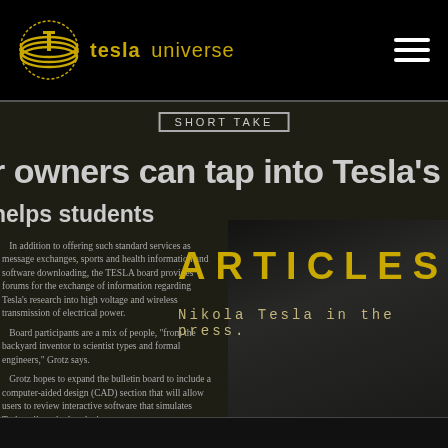tesla universe
[Figure (screenshot): Tesla Universe website header with gold Tesla Universe logo on black background and white hamburger menu icon on the right]
[Figure (photo): Background newspaper article clipping in black and white showing text about TESLA bulletin board system with SHORT TAKE header, headline about owners can tap into Tesla's, sub-headline helps students, and body text about the bulletin board services, along with a dark photograph on the right side]
ARTICLES
Nikola Tesla in the press.